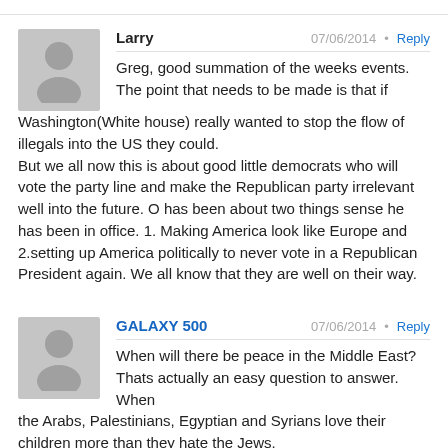Larry
07/06/2014 • Reply
Greg, good summation of the weeks events. The point that needs to be made is that if Washington(White house) really wanted to stop the flow of illegals into the US they could.
But we all now this is about good little democrats who will vote the party line and make the Republican party irrelevant well into the future. O has been about two things sense he has been in office. 1. Making America look like Europe and 2.setting up America politically to never vote in a Republican President again. We all know that they are well on their way.
GALAXY 500
07/06/2014 • Reply
When will there be peace in the Middle East? Thats actually an easy question to answer. When the Arabs, Palestinians, Egyptian and Syrians love their children more than they hate the Jews.